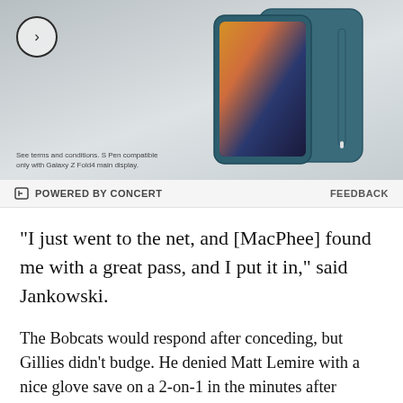[Figure (photo): Advertisement image showing a Samsung Galaxy Z Fold4 phone with S Pen accessory against a dark teal/blue background, with a circular arrow button on the left side and small disclaimer text at the bottom left.]
POWERED BY CONCERT   FEEDBACK
"I just went to the net, and [MacPhee] found me with a great pass, and I put it in," said Jankowski.
The Bobcats would respond after conceding, but Gillies didn't budge. He denied Matt Lemire with a nice glove save on a 2-on-1 in the minutes after Jankowski's tally, and made 13 saves in all in the first period to keep Providence's lead at one after 20 minutes.
The second period was much of the same, as Gillies continued to stymy all of Quinnipiac's chances. He made another strong save on Lemire through traffic, which Providence followed by quickly getting its